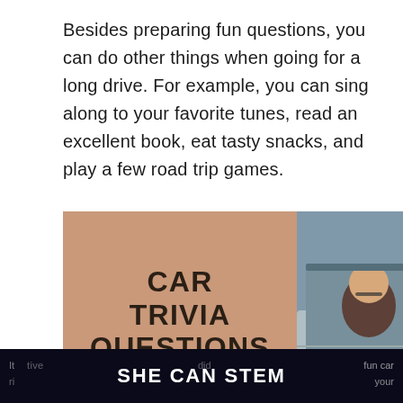Besides preparing fun questions, you can do other things when going for a long drive. For example, you can sing along to your favorite tunes, read an excellent book, eat tasty snacks, and play a few road trip games.
[Figure (illustration): Composite image: left half is a tan/brown background with 'CAR TRIVIA QUESTIONS' in large bold uppercase text. Right half shows a photo of people smiling inside a car, with social media overlay icons (heart, share button, number 1) and a 'WHAT'S NEXT' thumbnail box showing '91 Funny, fun and easy...']
SHE CAN STEM
fun car your